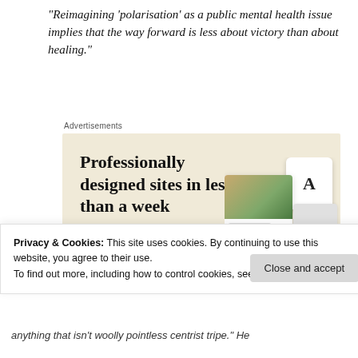“Reimagining ‘polarisation’ as a public mental health issue implies that the way forward is less about victory than about healing.”
Advertisements
[Figure (screenshot): Web advertisement for a website-building service. Beige background with text 'Professionally designed sites in less than a week', a green 'Explore options' button, and mockup screenshots of websites.]
Privacy & Cookies: This site uses cookies. By continuing to use this website, you agree to their use.
To find out more, including how to control cookies, see here: Cookie Policy
anything that isn’t woolly pointless centrist tripe.” He